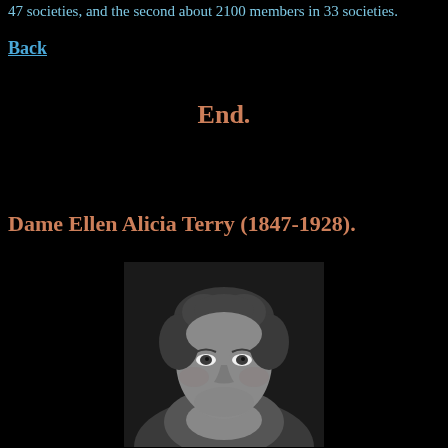47 societies, and the second about 2100 members in 33 societies.
Back
End.
Dame Ellen Alicia Terry (1847-1928).
[Figure (photo): Black and white portrait photograph of Dame Ellen Alicia Terry, a woman with curly hair, wearing a light-colored dress with ruffled neckline, looking directly at the camera.]